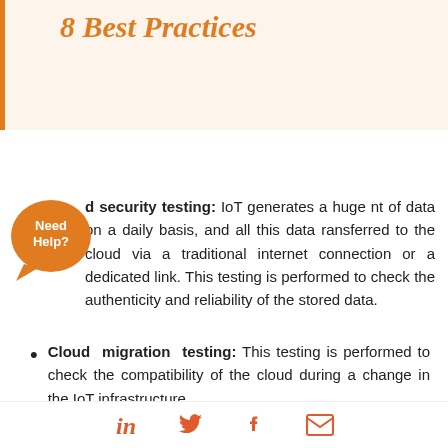8 Best Practices
d security testing: IoT generates a huge nt of data on a daily basis, and all this data ransferred to the cloud via a traditional internet connection or a dedicated link. This testing is performed to check the authenticity and reliability of the stored data.
Cloud migration testing: This testing is performed to check the compatibility of the cloud during a change in the IoT infrastructure.
Social share icons: LinkedIn, Twitter, Facebook, Email